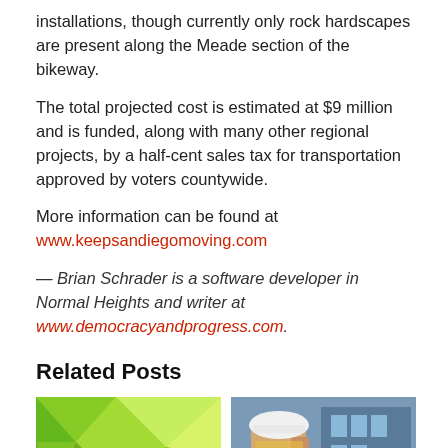installations, though currently only rock hardscapes are present along the Meade section of the bikeway.
The total projected cost is estimated at $9 million and is funded, along with many other regional projects, by a half-cent sales tax for transportation approved by voters countywide.
More information can be found at www.keepsandiegomoving.com
— Brian Schrader is a software developer in Normal Heights and writer at www.democracyandprogress.com.
Related Posts
[Figure (illustration): Abstract green polygonal geometric illustration]
[Figure (photo): Person holding a white hard hat, construction or engineering context]